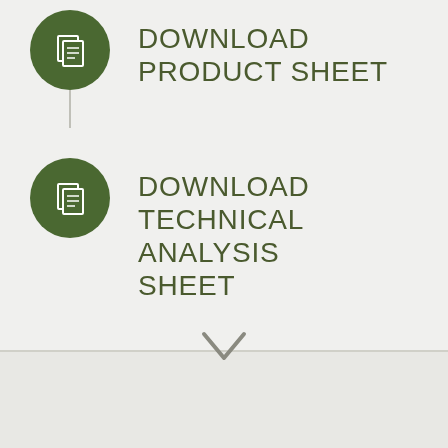[Figure (infographic): Green circle icon with overlapping document/page icons representing download]
DOWNLOAD PRODUCT SHEET
[Figure (infographic): Green circle icon with overlapping document/page icons representing download]
DOWNLOAD TECHNICAL ANALYSIS SHEET
[Figure (infographic): Downward pointing chevron/arrow divider]
[Figure (infographic): Grey scroll-to-top button with upward chevron]
*Contact us for deliveries outside of Australia
Orders are delivered by either Australia Post or via